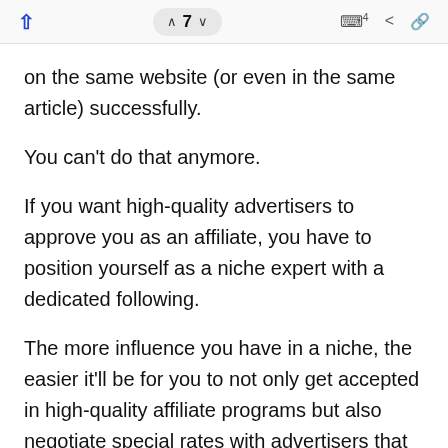↑  ∧ 7 ∨  □ 4  ⋖  🔗
on the same website (or even in the same article) successfully.
You can't do that anymore.
If you want high-quality advertisers to approve you as an affiliate, you have to position yourself as a niche expert with a dedicated following.
The more influence you have in a niche, the easier it'll be for you to not only get accepted in high-quality affiliate programs but also negotiate special rates with advertisers that are not available to other affiliates.